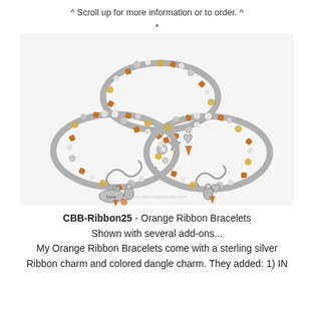^ Scroll up for more information or to order. ^
*
[Figure (photo): Three orange ribbon charm bracelets shown overlapping, featuring silver beads, amber/orange crystal beads, white pearl beads, and multiple silver charms including ribbon charms, heart charms, and angel charms with dangles.]
CBB-Ribbon25 - Orange Ribbon Bracelets
Shown with several add-ons...
My Orange Ribbon Bracelets come with a sterling silver Ribbon charm and colored dangle charm. They added: 1) IN